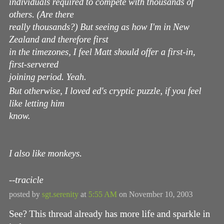individuals required to compete with thousands of others. (Are there really thousands?) But seeing as how I'm in New Zealand and therefore first in the timezones, I feel Matt should offer a first-in, first-servered joining period. Yeah.
But otherwise, I loved ed's cryptic puzzle, if you feel like letting him know.
I also like monkeys.
--tracicle
posted by sgt.serenity at 5:55 AM on November 10, 2003
See? This thread already has more life and sparkle in it than